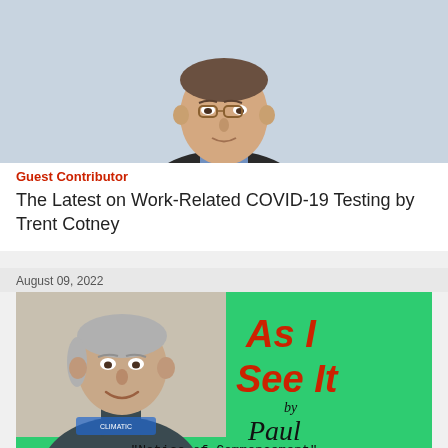[Figure (photo): Headshot of a man in dark suit, blue shirt, and red tie, against a light blue background.]
Guest Contributor
The Latest on Work-Related COVID-19 Testing by Trent Cotney
August 09, 2022
[Figure (photo): Banner image with green background. Left side shows a photo of an older man smiling. Right side shows text 'As I See It by Paul Stehle'. Bottom text reads "Notice of Commencement"]